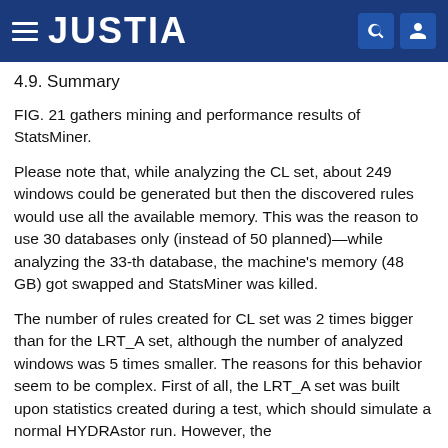JUSTIA
4.9. Summary
FIG. 21 gathers mining and performance results of StatsMiner.
Please note that, while analyzing the CL set, about 249 windows could be generated but then the discovered rules would use all the available memory. This was the reason to use 30 databases only (instead of 50 planned)—while analyzing the 33-th database, the machine's memory (48 GB) got swapped and StatsMiner was killed.
The number of rules created for CL set was 2 times bigger than for the LRT_A set, although the number of analyzed windows was 5 times smaller. The reasons for this behavior seem to be complex. First of all, the LRT_A set was built upon statistics created during a test, which should simulate a normal HYDRAstor run. However, the